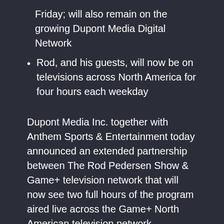Friday; will also remain on the growing Dupont Media Digital Network
Rod, and his guests, will now be on televisions across North America for four hours each weekday
Dupont Media Inc. together with Anthem Sports & Entertainment today announced an extended partnership between The Rod Pedersen Show & Game+ television network that will now see two full hours of the program aired live across the Game+ North American television network beginning on February 1.
This announcement builds off the July 2, 2020 launch